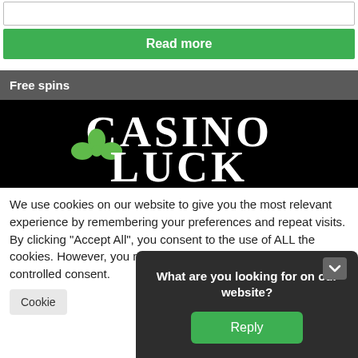[Figure (other): White input/card box at top]
Read more
Free spins
[Figure (logo): Casino Luck logo — white serif text 'CASINO LUCK' with green shamrock icon on black background]
We use cookies on our website to give you the most relevant experience by remembering your preferences and repeat visits. By clicking "Accept All", you consent to the use of ALL the cookies. However, you may visit "Cookie Settings" to provide a controlled consent.
Cookie
What are you looking for on our website?
Reply